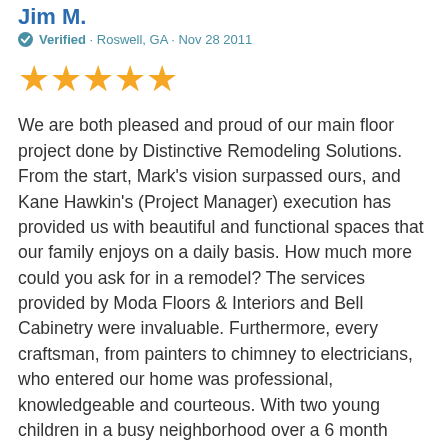Jim M.
Verified · Roswell, GA · Nov 28 2011
[Figure (other): Five gold star rating icons]
We are both pleased and proud of our main floor project done by Distinctive Remodeling Solutions. From the start, Mark's vision surpassed ours, and Kane Hawkin's (Project Manager) execution has provided us with beautiful and functional spaces that our family enjoys on a daily basis. How much more could you ask for in a remodel? The services provided by Moda Floors & Interiors and Bell Cabinetry were invaluable. Furthermore, every craftsman, from painters to chimney to electricians, who entered our home was professional, knowledgeable and courteous. With two young children in a busy neighborhood over a 6 month period of time, this was very crucial to us.Distinctive Remodeling Solutions truly lives up to its very name!